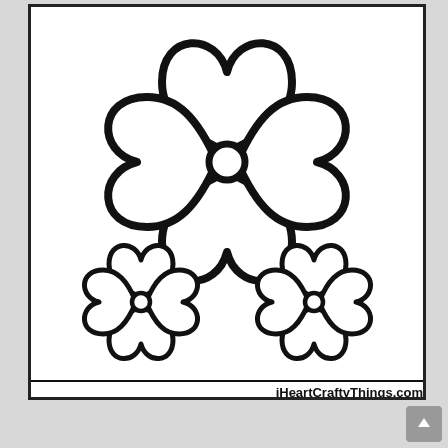[Figure (illustration): A coloring page from iHeartCraftyThings.com showing three four-leaf clover / flower shapes made of heart-shaped petals. The large flower is in the upper-center area and two smaller identical flowers are in the lower-left and lower-right. Each flower has four heart-shaped petals arranged around a small circle center. The image is black outline on white background inside a bordered rectangle.]